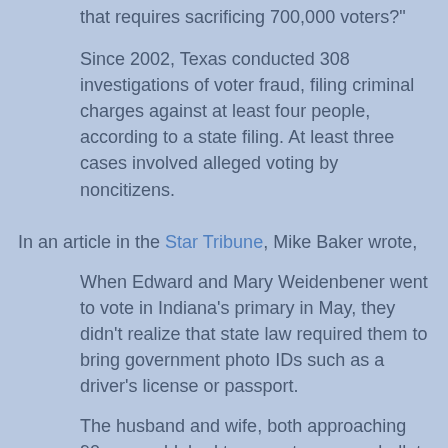that requires sacrificing 700,000 voters?"
Since 2002, Texas conducted 308 investigations of voter fraud, filing criminal charges against at least four people, according to a state filing. At least three cases involved alleged voting by noncitizens.
In an article in the Star Tribune, Mike Baker wrote,
When Edward and Mary Weidenbener went to vote in Indiana's primary in May, they didn't realize that state law required them to bring government photo IDs such as a driver's license or passport.
The husband and wife, both approaching 90 years old, had to use a temporary ballot that would be verified later, even though they knew the people working the polling site that day. Unaware that Indiana law obligated them to follow up with the county election board, the